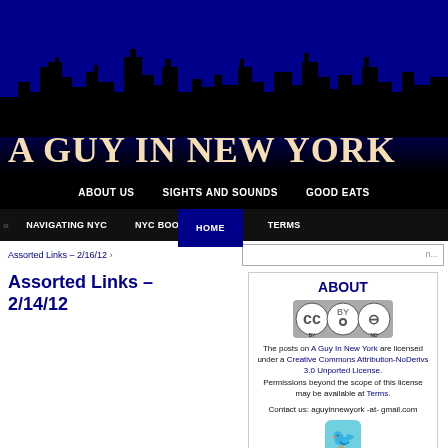[Figure (illustration): Website header banner with NYC skyline silhouette against a dark blue to black gradient background, with the site title 'A GUY IN NEW YORK' in large serif gold/cream text at the bottom left.]
ABOUT US | SIGHTS AND SOUNDS | GOOD EATS
NAVIGATING NYC | NYC BOOKS | FAQ | TERMS | HOME
Assorted Links – 2/16/12
Assorted Links – 2/14/12
ABOUT
[Figure (logo): Creative Commons BY-ND license badge]
The posts on A Guy In New York are licensed under a Creative Commons Attribution-NoDerivs 3.0 Unported License. Permissions beyond the scope of this license may be available at Terms.
Contact us: aguyinnewyork -at- gmail.com
[Figure (logo): Twitter bird icon button in light blue]